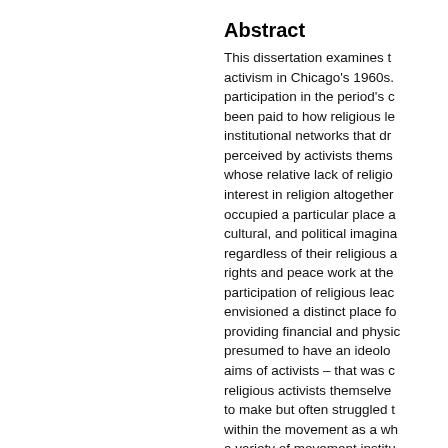Abstract
This dissertation examines the role of religious activism in Chicago's 1960s. participation in the period's civil rights has been paid to how religious leaders and the institutional networks that drew activists in, perceived by activists themselves, and those whose relative lack of religious motivation or interest in religion altogether. Religion occupied a particular place and the social, cultural, and political imaginations of activists regardless of their religious affiliation as rights and peace work at the time. The participation of religious leaders who envisioned a distinct place for religion providing financial and physical support, presumed to have an ideological alignment with aims of activists – that was often contested by religious activists themselves and was difficult to make but often struggled to sustain within the movement as a whole. Drawing on a variety of movement institutions including University of Chicago, community Organization, and a number dissertations considers the